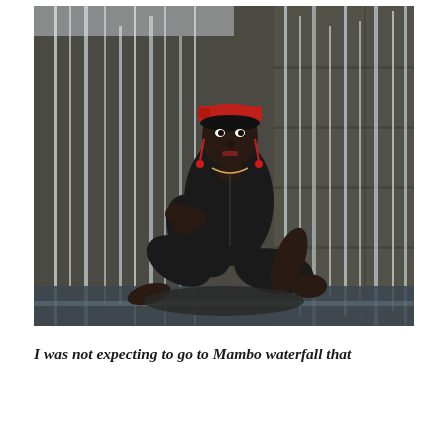[Figure (photo): A woman wearing a red cap and black athletic outfit sits in front of a cascading waterfall on a wet rock. She is posed with one knee up, leaning on one arm, looking confidently at the camera. The waterfall creates dramatic curtains of water behind her against a dark rocky wall.]
I was not expecting to go to Mambo waterfall that